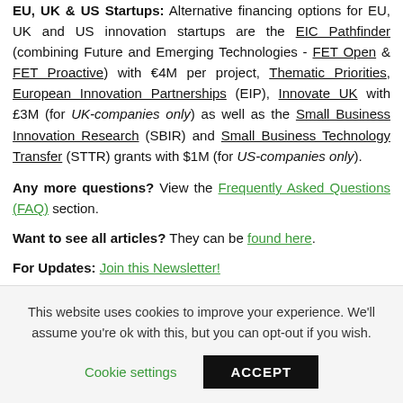EU, UK & US Startups: Alternative financing options for EU, UK and US innovation startups are the EIC Pathfinder (combining Future and Emerging Technologies - FET Open & FET Proactive) with €4M per project, Thematic Priorities, European Innovation Partnerships (EIP), Innovate UK with £3M (for UK-companies only) as well as the Small Business Innovation Research (SBIR) and Small Business Technology Transfer (STTR) grants with $1M (for US-companies only).
Any more questions? View the Frequently Asked Questions (FAQ) section.
Want to see all articles? They can be found here.
For Updates: Join this Newsletter!
This website uses cookies to improve your experience. We'll assume you're ok with this, but you can opt-out if you wish.